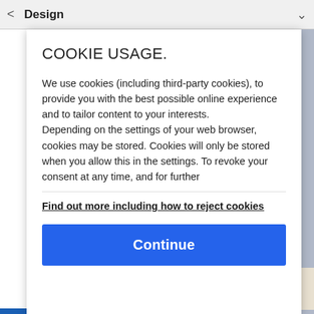< Design v
COOKIE USAGE.
We use cookies (including third-party cookies), to provide you with the best possible online experience and to tailor content to your interests.
Depending on the settings of your web browser, cookies may be stored. Cookies will only be stored when you allow this in the settings. To revoke your consent at any time, and for further
Find out more including how to reject cookies
Continue